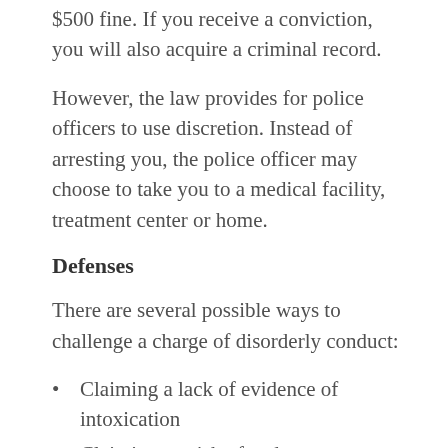$500 fine. If you receive a conviction, you will also acquire a criminal record.
However, the law provides for police officers to use discretion. Instead of arresting you, the police officer may choose to take you to a medical facility, treatment center or home.
Defenses
There are several possible ways to challenge a charge of disorderly conduct:
Claiming a lack of evidence of intoxication
Claiming no risk of endangerment
Disputing whether the incident happened in a public place